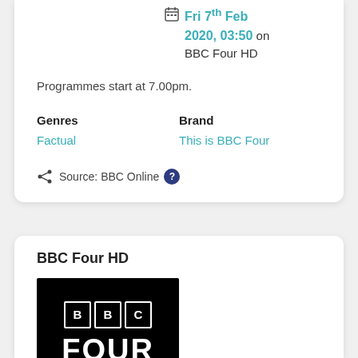Fri 7th Feb 2020, 03:50 on BBC Four HD
Programmes start at 7.00pm.
Genres
Factual
Brand
This is BBC Four
Source: BBC Online
BBC Four HD
[Figure (logo): BBC FOUR logo: white BBC boxes and FOUR text on black background]